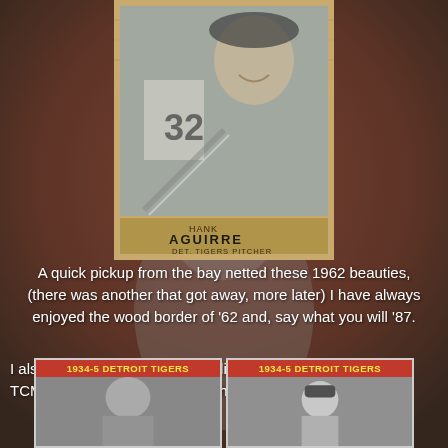[Figure (photo): Background photo of baseball player in Detroit Tigers uniform with autograph signature in blue ink. Foreground shows a 1962 Topps baseball card of Hank Aguirre labeled 'HANK AGUIRRE DET. TIGERS PITCHER' with wood border design.]
A quick pickup from the bay netted these 1962 beauties, (there was another that got away, more later) I have always enjoyed the wood border of '62 and, say what you will '87.
I also acquired this rare (as the listing said right?) 1974 TCMA 1934-35 Detroit Tigers Champions
[Figure (photo): Two 1974 TCMA 1934-5 Detroit Tigers cards side by side, each with red header reading '1934-5 DETROIT TIGERS' in yellow text, showing black and white photos of players.]